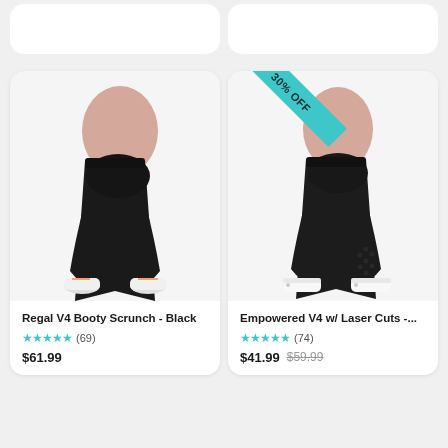[Figure (photo): Woman wearing black Regal V4 Booty Scrunch leggings, side/back view, white sneakers]
[Figure (photo): Woman wearing black Empowered V4 w/ Laser Cuts leggings with 30% OFF ribbon banner, white sneakers]
Regal V4 Booty Scrunch - Black
★★★★★ (69)
$61.99
Empowered V4 w/ Laser Cuts -...
★★★★★ (74)
$41.99 $59.99